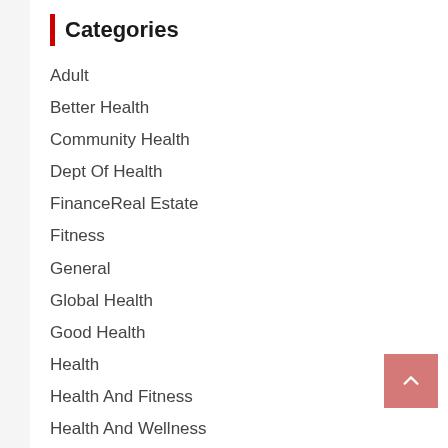Categories
Adult
Better Health
Community Health
Dept Of Health
FinanceReal Estate
Fitness
General
Global Health
Good Health
Health
Health And Fitness
Health And Wellness
Health Article
Health Benefits
Health Center
Health Current Events
Health Education